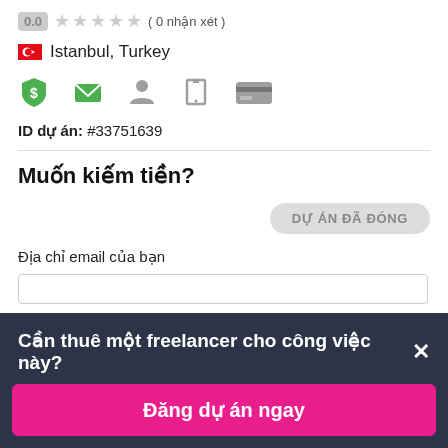0.0 ★★★★★ ( 0 nhận xét )
Istanbul, Turkey
[Figure (infographic): Row of 5 icons: dollar shield (green), envelope (green), person, phone, credit card (grey)]
ID dự án: #33751639
Muốn kiếm tiền?
DỰ ÁN ĐÃ ĐÓNG
Địa chỉ email của bạn
Cần thuê một freelancer cho công việc này?×
Đăng dự án ngay